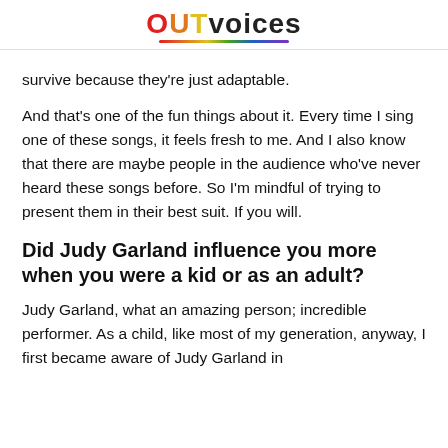OUTvoices
survive because they're just adaptable.
And that's one of the fun things about it. Every time I sing one of these songs, it feels fresh to me. And I also know that there are maybe people in the audience who've never heard these songs before. So I'm mindful of trying to present them in their best suit. If you will.
Did Judy Garland influence you more when you were a kid or as an adult?
Judy Garland, what an amazing person; incredible performer. As a child, like most of my generation, anyway, I first became aware of Judy Garland in